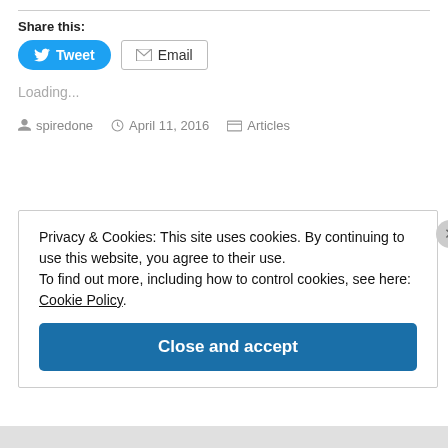Share this:
[Figure (screenshot): Tweet button (blue rounded) and Email button (outlined)]
Loading...
spiredone   April 11, 2016   Articles
Privacy & Cookies: This site uses cookies. By continuing to use this website, you agree to their use. To find out more, including how to control cookies, see here: Cookie Policy.
Close and accept